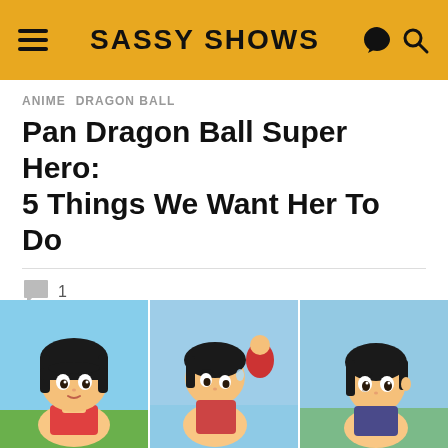SASSY SHOWS
ANIME  DRAGON BALL
Pan Dragon Ball Super Hero: 5 Things We Want Her To Do
1
Pan Dragon Ball Super Hero look is out and the fans are excited to see something different from the character. So, here is all we know.
[Figure (photo): Three side-by-side anime screenshots of Pan from Dragon Ball, showing the character from different angles and series versions, with blue sky backgrounds.]